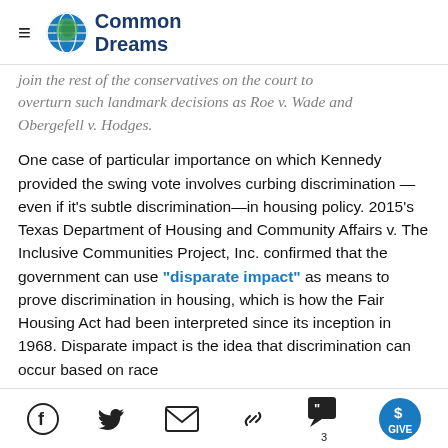Common Dreams
join the rest of the conservatives on the court to overturn such landmark decisions as Roe v. Wade and Obergefell v. Hodges.
One case of particular importance on which Kennedy provided the swing vote involves curbing discrimination—even if it's subtle discrimination—in housing policy. 2015's Texas Department of Housing and Community Affairs v. The Inclusive Communities Project, Inc. confirmed that the government can use "disparate impact" as means to prove discrimination in housing, which is how the Fair Housing Act had been interpreted since its inception in 1968. Disparate impact is the idea that discrimination can occur based on race
Social sharing icons: Facebook, Twitter, Email, Link, Comments (3), Give